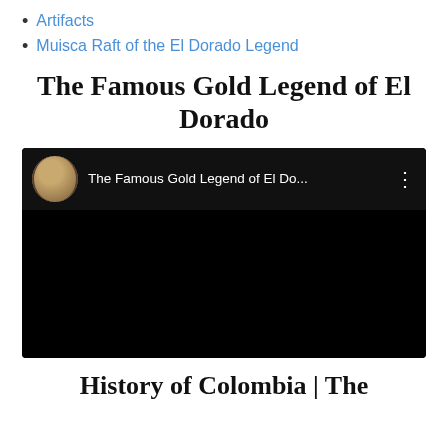Artifacts
Muisca Raft of the El Dorado Legend
The Famous Gold Legend of El Dorado
[Figure (screenshot): Embedded YouTube video player showing 'The Famous Gold Legend of El Do...' with a circular avatar thumbnail of a woman on the left, video title text, and a three-dot menu icon. The video area below is black.]
History of Colombia | The